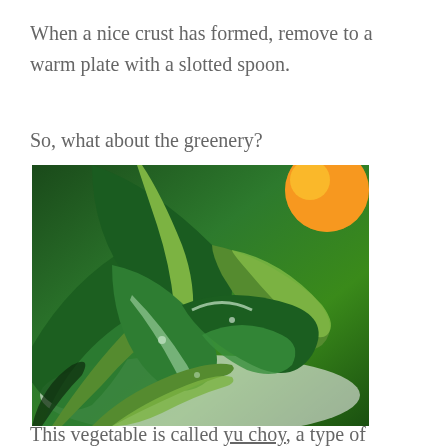When a nice crust has formed, remove to a warm plate with a slotted spoon.
So, what about the greenery?
[Figure (photo): Close-up photograph of yu choy (Chinese green vegetable) leaves on a white plate, with dark green leaves and lighter stems, and a yellow/orange citrus fruit visible in the background.]
This vegetable is called yu choy, a type of Chinese